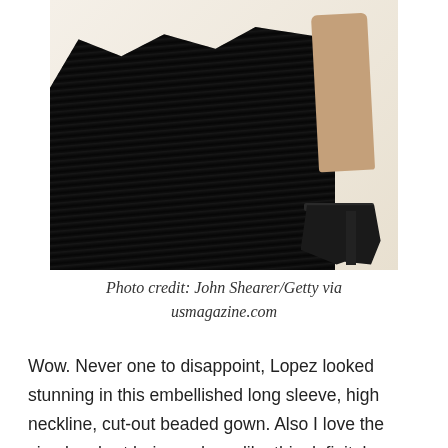[Figure (photo): Photo of a black feathered/fringed gown train sweeping across a white floor, with a woman's leg and black high-heel stiletto visible on the right side. Background is light cream/beige.]
Photo credit: John Shearer/Getty via usmagazine.com
Wow. Never one to disappoint, Lopez looked stunning in this embellished long sleeve, high neckline, cut-out beaded gown. Also I love the simpler short hair... a dress like this definitely stands